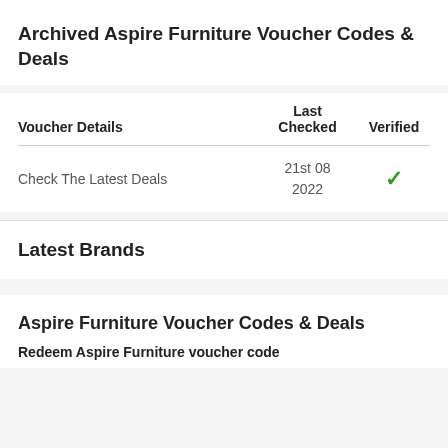Archived Aspire Furniture Voucher Codes & Deals
| Voucher Details | Last Checked | Verified |
| --- | --- | --- |
| Check The Latest Deals | 21st 08 2022 | ✓ |
Latest Brands
Aspire Furniture Voucher Codes & Deals
Redeem Aspire Furniture voucher code